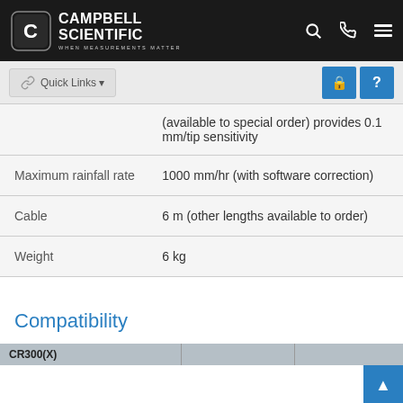Campbell Scientific — When Measurements Matter
|  |  |
| --- | --- |
|  | (available to special order) provides 0.1 mm/tip sensitivity |
| Maximum rainfall rate | 1000 mm/hr (with software correction) |
| Cable | 6 m (other lengths available to order) |
| Weight | 6 kg |
Compatibility